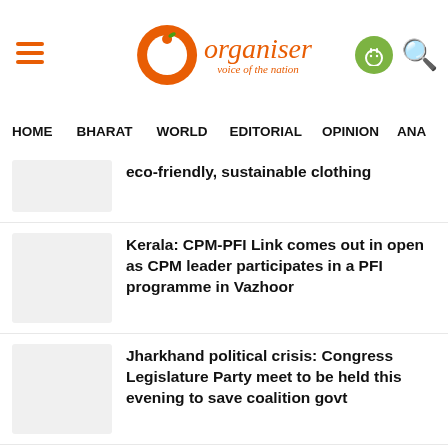Organiser — voice of the nation
HOME
BHARAT
WORLD
EDITORIAL
OPINION
ANA
eco-friendly, sustainable clothing
Kerala: CPM-PFI Link comes out in open as CPM leader participates in a PFI programme in Vazhoor
Jharkhand political crisis: Congress Legislature Party meet to be held this evening to save coalition govt
JNU organises international conference to empower tribal communities
Quality of Ayush Drugs New Buzzword